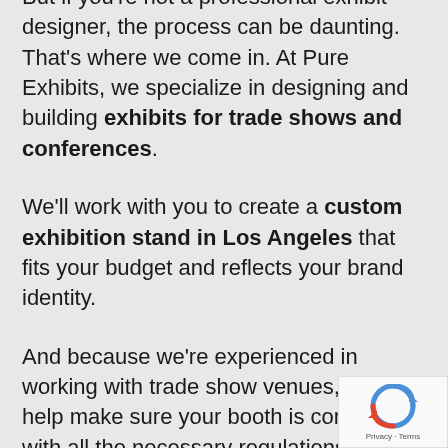But if you're not a professional exhibit designer, the process can be daunting. That's where we come in. At Pure Exhibits, we specialize in designing and building exhibits for trade shows and conferences.
We'll work with you to create a custom exhibition stand in Los Angeles that fits your budget and reflects your brand identity.
And because we're experienced in working with trade show venues, we can help make sure your booth is compliant with all the necessary regulations.
So if you're looking for help with your exhibit rental booth at ITS World Congress, give us a call. We'll be happy